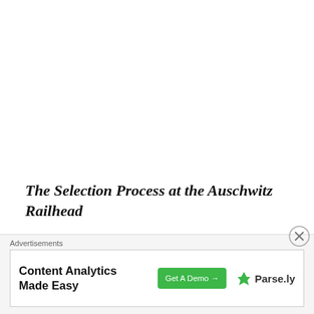The Selection Process at the Auschwitz Railhead
Though the police formations that are before you
[Figure (other): Advertisement banner: 'Content Analytics Made Easy' with Get A Demo button and Parse.ly logo]